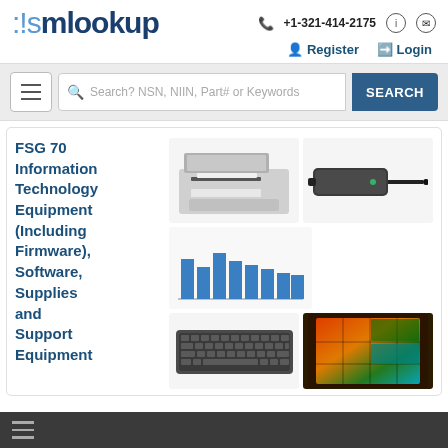nsmookup
+1-321-414-2175
Register  Login
Search? NSN, NIIN, Part# or Keywords  SEARCH
FSG 70 Information Technology Equipment (Including Firmware), Software, Supplies and Support Equipment
[Figure (photo): Laser printer device]
[Figure (photo): Power adapter / AC brick with cable]
[Figure (bar-chart): Bar chart showing multiple blue vertical bars of varying heights]
[Figure (photo): Computer keyboard]
[Figure (photo): Semiconductor chip / processor die close-up with colorful heat map]